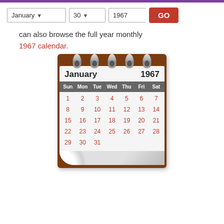[Figure (screenshot): Top navigation bar with month selector (January), day selector (30), year input (1967), and red GO button]
can also browse the full year monthly
1967 calendar.
[Figure (illustration): Calendar illustration showing January 1967 with spiral rings at top, day 30 highlighted in orange circle. Days run Sun-Sat. Dates: 1-7 (row1), 8-14 (row2), 15-21 (row3), 22-28 (row4), 29-31 (row5). Page curl at bottom left corner.]